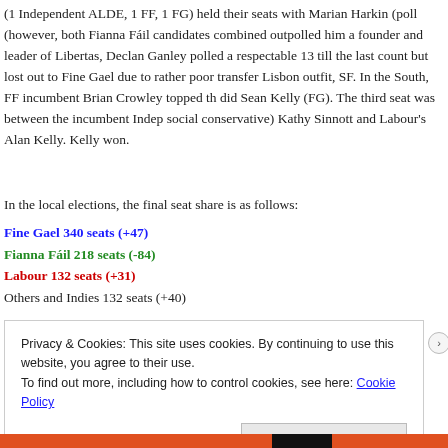(1 Independent ALDE, 1 FF, 1 FG) held their seats with Marian Harkin (poll (however, both Fianna Fáil candidates combined outpolled him a founder and leader of Libertas, Declan Ganley polled a respectable 13 till the last count but lost out to Fine Gael due to rather poor transfer Lisbon outfit, SF. In the South, FF incumbent Brian Crowley topped th did Sean Kelly (FG). The third seat was between the incumbent Indep social conservative) Kathy Sinnott and Labour's Alan Kelly. Kelly won.
In the local elections, the final seat share is as follows:
Fine Gael 340 seats (+47)
Fianna Fáil 218 seats (-84)
Labour 132 seats (+31)
Others and Indies 132 seats (+40)
Privacy & Cookies: This site uses cookies. By continuing to use this website, you agree to their use. To find out more, including how to control cookies, see here: Cookie Policy
Close and accept